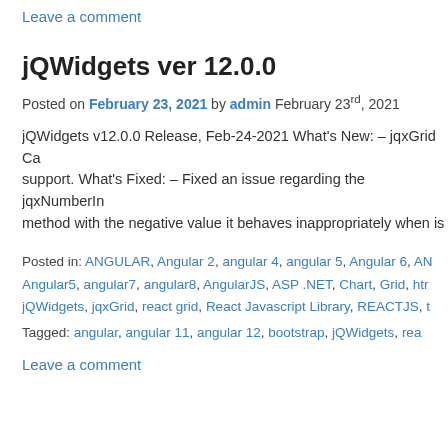Leave a comment
jQWidgets ver 12.0.0
Posted on February 23, 2021 by admin February 23rd, 2021
jQWidgets v12.0.0 Release, Feb-24-2021 What's New: – jqxGrid Ca support. What's Fixed: – Fixed an issue regarding the jqxNumberIn method with the negative value it behaves inappropriately when is
Posted in: ANGULAR, Angular 2, angular 4, angular 5, Angular 6, AN Angular5, angular7, angular8, AngularJS, ASP .NET, Chart, Grid, htr jQWidgets, jqxGrid, react grid, React Javascript Library, REACTJS, t
Tagged: angular, angular 11, angular 12, bootstrap, jQWidgets, rea
Leave a comment